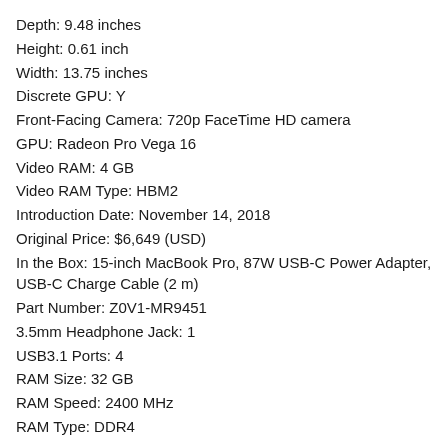Depth: 9.48 inches
Height: 0.61 inch
Width: 13.75 inches
Discrete GPU: Y
Front-Facing Camera: 720p FaceTime HD camera
GPU: Radeon Pro Vega 16
Video RAM: 4 GB
Video RAM Type: HBM2
Introduction Date: November 14, 2018
Original Price: $6,649 (USD)
In the Box: 15-inch MacBook Pro, 87W USB-C Power Adapter, USB-C Charge Cable (2 m)
Part Number: Z0V1-MR9451
3.5mm Headphone Jack: 1
USB3.1 Ports: 4
RAM Size: 32 GB
RAM Speed: 2400 MHz
RAM Type: DDR4